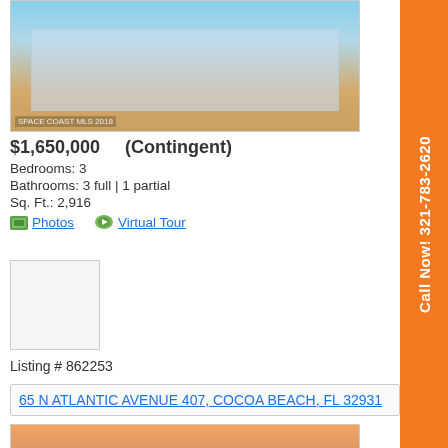[Figure (photo): Exterior photo of a multi-story condominium building at sunset/dusk with watermark 'SPACE COAST MLS 2018']
$1,650,000    (Contingent)
Bedrooms: 3
Bathrooms: 3 full | 1 partial
Sq. Ft.: 2,916
Photos    Virtual Tour
[Figure (photo): Small placeholder/thumbnail image box]
Listing # 862253
65 N ATLANTIC AVENUE 407, COCOA BEACH, FL 32931
[Figure (photo): Exterior photo of the same multi-story condominium building at sunset with watermark 'SPACE COAST MLS 2018']
$1,625,000    (Contingent)
Bedrooms: 3
Bathrooms: 2
Call Now! 321-783-2620